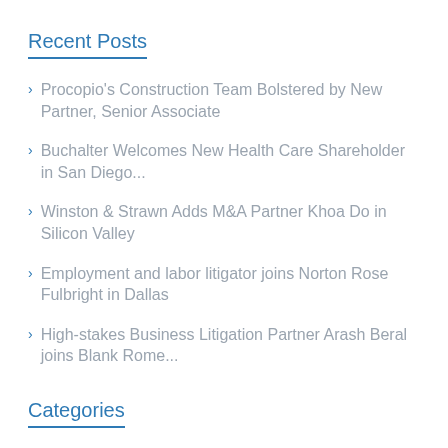Recent Posts
Procopio's Construction Team Bolstered by New Partner, Senior Associate
Buchalter Welcomes New Health Care Shareholder in San Diego...
Winston & Strawn Adds M&A Partner Khoa Do in Silicon Valley
Employment and labor litigator joins Norton Rose Fulbright in Dallas
High-stakes Business Litigation Partner Arash Beral joins Blank Rome...
Categories